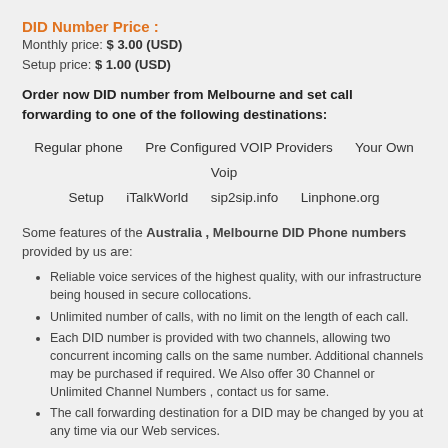DID Number Price :
Monthly price: $ 3.00 (USD)
Setup price: $ 1.00 (USD)
Order now DID number from Melbourne and set call forwarding to one of the following destinations:
Regular phone   Pre Configured VOIP Providers   Your Own Voip Setup   iTalkWorld   sip2sip.info   Linphone.org
Some features of the Australia , Melbourne DID Phone numbers provided by us are:
Reliable voice services of the highest quality, with our infrastructure being housed in secure collocations.
Unlimited number of calls, with no limit on the length of each call.
Each DID number is provided with two channels, allowing two concurrent incoming calls on the same number. Additional channels may be purchased if required. We Also offer 30 Channel or Unlimited Channel Numbers , contact us for same.
The call forwarding destination for a DID may be changed by you at any time via our Web services.